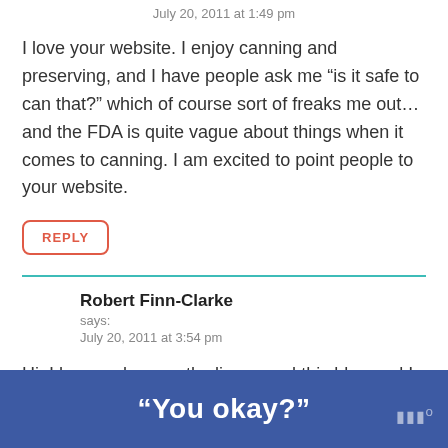July 20, 2011 at 1:49 pm
I love your website. I enjoy canning and preserving, and I have people ask me “is it safe to can that?” which of course sort of freaks me out…and the FDA is quite vague about things when it comes to canning. I am excited to point people to your website.
REPLY
Robert Finn-Clarke
says:
July 20, 2011 at 3:54 pm
Hi, I have only recently discovered this blog and I am truly glad that I have. Last night after a serious day at the office, I
“You okay?”